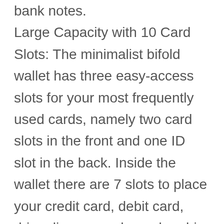bank notes. Large Capacity with 10 Card Slots: The minimalist bifold wallet has three easy-access slots for your most frequently used cards, namely two card slots in the front and one ID slot in the back. Inside the wallet there are 7 slots to place your credit card, debit card, driver license and membership cards, and one built-in spring clip. Secure Mens Wallet with RFID Blocking . Our wallets have been tested for valid blocking of signals working at 13.56 MHz Frequency, in which our credit cards, debit cards, driver